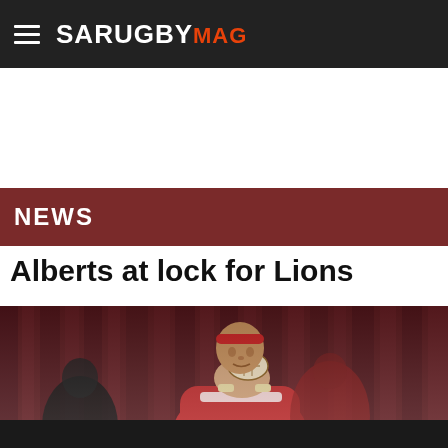SA RUGBY MAG
NEWS
Alberts at lock for Lions
[Figure (photo): Rugby player in red Lions jersey holding a ball during a lineout, wearing a red headband, with teammates and a dark red blurred background.]